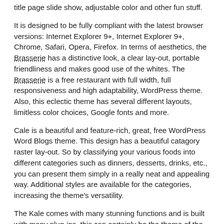title page slide show, adjustable color and other fun stuff.
It is designed to be fully compliant with the latest browser versions: Internet Explorer 9+, Internet Explorer 9+, Chrome, Safari, Opera, Firefox. In terms of aesthetics, the Brasserie has a distinctive look, a clear lay-out, portable friendliness and makes good use of the whites. The Brasserie is a free restaurant with full width, full responsiveness and high adaptability, WordPress theme. Also, this eclectic theme has several different layouts, limitless color choices, Google fonts and more.
Cale is a beautiful and feature-rich, great, free WordPress Word Blogs theme. This design has a beautiful catagory raster lay-out. So by classifying your various foods into different categories such as dinners, desserts, drinks, etc., you can present them simply in a really neat and appealing way. Additional styles are available for the categories, increasing the theme's versatility.
The Kale comes with many stunning functions and is built with many plug-ins, this can certainly be the theme of the restaurant